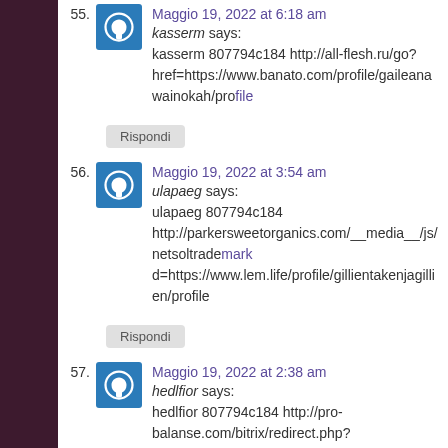55. Maggio 19, 2022 at 6:18 am
kasserm says:
kasserm 807794c184 http://all-flesh.ru/go? href=https://www.banato.com/profile/gaileanawainokah/profile
56. Maggio 19, 2022 at 3:54 am
ulapaeg says:
ulapaeg 807794c184 http://parkersweetorganics.com/__media__/js/netsoltrademark d=https://www.lem.life/profile/gillientakenjagillien/profile
57. Maggio 19, 2022 at 2:38 am
hedlfior says:
hedlfior 807794c184 http://pro-balanse.com/bitrix/redirect.php?